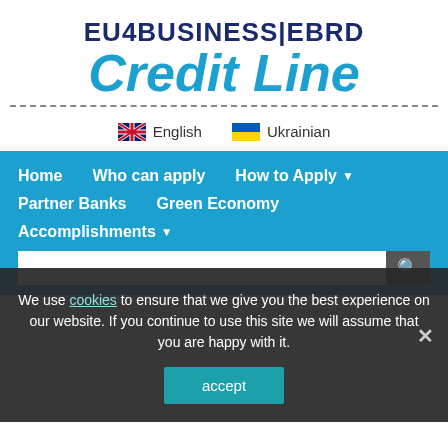[Figure (logo): EU4BUSINESS|EBRD Credit Line logo with dark blue top text and light blue italic large 'Credit Line' text below, separated by a dashed divider line]
🇬🇧 English   🇺🇦 Ukrainian
[Figure (screenshot): Navigation bar on teal/blue background with menu items: Home, Who can apply, How to Apply (dropdown), Partner Banks, Green Economy, Accomplishments (dropdown), and a search bar]
We use cookies to ensure that we give you the best experience on our website. If you continue to use this site we will assume that you are happy with it.
accept